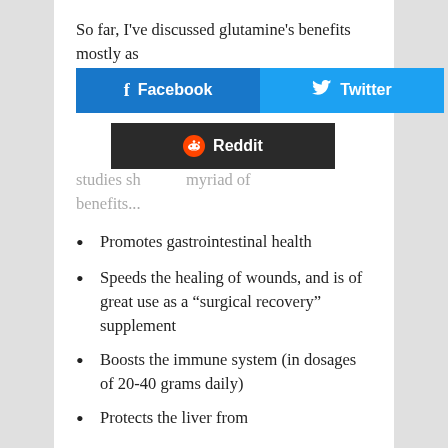So far, I've discussed glutamine's benefits mostly as the nutrients to diet, as a (text partially obscured) studies show a myriad of benefits...
[Figure (infographic): Social sharing buttons overlaid on text: Facebook (blue), Twitter (light blue), Reddit (dark/black background). The buttons partially obscure the body text.]
Promotes gastrointestinal health
Speeds the healing of wounds, and is of great use as a “surgical recovery” supplement
Boosts the immune system (in dosages of 20-40 grams daily)
Protects the liver from